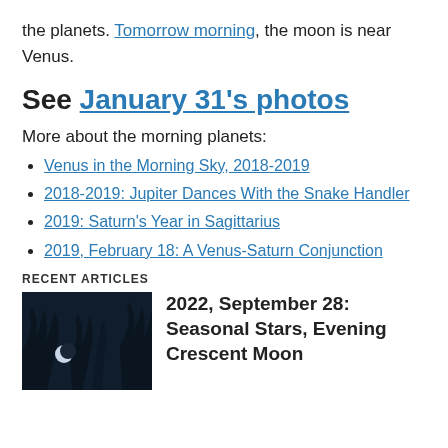the planets. Tomorrow morning, the moon is near Venus.
See January 31's photos
More about the morning planets:
Venus in the Morning Sky, 2018-2019
2018-2019:  Jupiter Dances With the Snake Handler
2019: Saturn's Year in Sagittarius
2019, February 18:  A Venus-Saturn Conjunction
RECENT ARTICLES
[Figure (photo): Night sky photograph showing a crescent moon among bare tree silhouettes]
2022, September 28: Seasonal Stars, Evening Crescent Moon